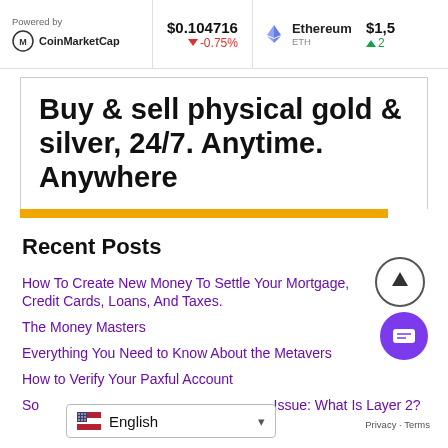Powered by CoinMarketCap | $0.104716 -0.75% | Ethereum ETH $1,5...
[Figure (infographic): Advertisement banner: Buy & sell physical gold & silver, 24/7. Anytime. Anywhere with a golden bottom bar.]
Recent Posts
How To Create New Money To Settle Your Mortgage, Credit Cards, Loans, And Taxes.
The Money Masters
Everything You Need to Know About the Metavers...
How to Verify Your Paxful Account
So... Issue: What Is Layer 2?